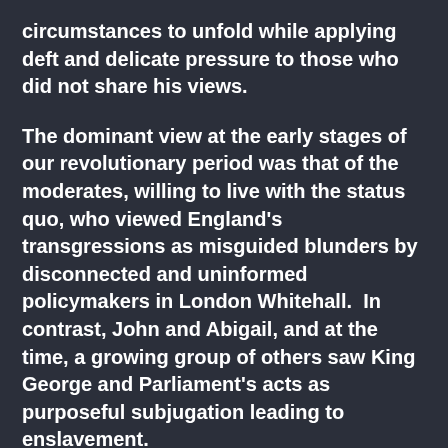circumstances to unfold while applying deft and delicate pressure to those who did not share his views.

The dominant view at the early stages of our revolutionary period was that of the moderates, willing to live with the status quo, who viewed England's transgressions as misguided blunders by disconnected and uninformed policymakers in London Whitehall.  In contrast, John and Abigail, and at the time, a growing group of others saw King George and Parliament's acts as purposeful subjugation leading to enslavement.

The stark contrast of motives, in the end,